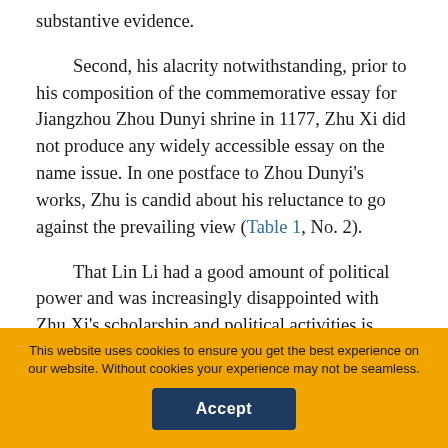substantive evidence.
Second, his alacrity notwithstanding, prior to his composition of the commemorative essay for Jiangzhou Zhou Dunyi shrine in 1177, Zhu Xi did not produce any widely accessible essay on the name issue. In one postface to Zhou Dunyi's works, Zhu is candid about his reluctance to go against the prevailing view (Table 1, No. 2).
That Lin Li had a good amount of political power and was increasingly disappointed with Zhu Xi's scholarship and political activities is another argument for his cautious posture. As time went on, the rift between the two men became sufficiently
This website uses cookies to ensure you get the best experience on our website. Without cookies your experience may not be seamless.